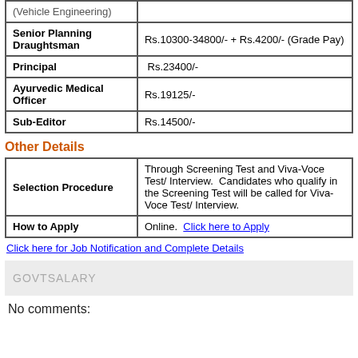| Position | Salary |
| --- | --- |
| (Vehicle Engineering) |  |
| Senior Planning Draughtsman | Rs.10300-34800/- + Rs.4200/- (Grade Pay) |
| Principal | Rs.23400/- |
| Ayurvedic Medical Officer | Rs.19125/- |
| Sub-Editor | Rs.14500/- |
Other Details
| Field | Details |
| --- | --- |
| Selection Procedure | Through Screening Test and Viva-Voce Test/ Interview.  Candidates who qualify in the Screening Test will be called for Viva-Voce Test/ Interview. |
| How to Apply | Online.  Click here to Apply |
Click here for Job Notification and Complete Details
GOVTSALARY
No comments: